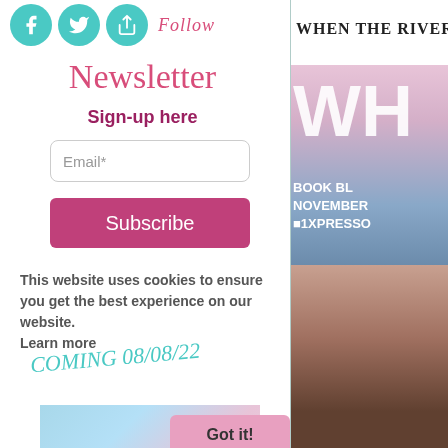[Figure (infographic): Social media icons (teal circles with Facebook, Twitter/bird, and share icons) followed by italic pink 'FOLLOW' text]
Newsletter
Sign-up here
Email*
Subscribe
This website uses cookies to ensure you get the best experience on our website.
Learn more
COMING 08/08/22
[Figure (photo): Book cover with blue/pink tones showing a male figure]
Got it!
WHEN THE RIVERS R
[Figure (photo): Book cover showing 'WH' large white letters over lake/mountain scene with text BOOK BLITZ NOVEMBER XPRESSO]